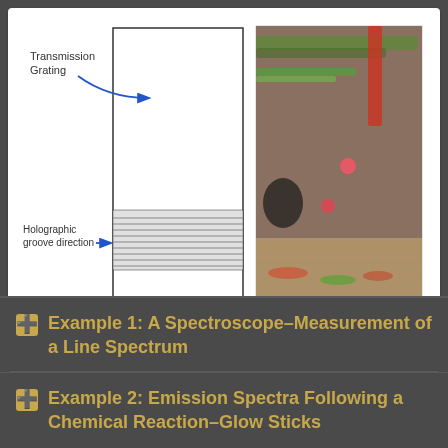[Figure (schematic): Two-part figure: left side shows a schematic diagram of a Transmission Grating with label 'Transmission Grating' pointing via blue arrow to the top portion of a rectangular outline, and 'Holographic groove direction' pointing via blue arrow to horizontal lines at the bottom of the rectangle. Right side shows a photograph of a holographic diffraction grating showing colorful diffracted light (green, red colors) from laser dots.]
Example 1: A Spectroscope–Measurement of a Line Spectrum
Example 2: Emission Spectra Following a Chemical Reaction–Glow Sticks